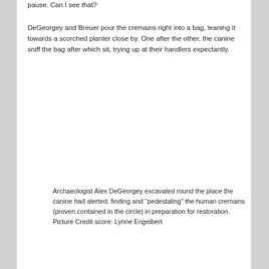pause.  Can I see that?
DeGeorgey and Breuer pour the cremains right into a bag, leaning it towards a scorched planter close by.  One after the other, the canine sniff the bag after which sit, trying up at their handlers expectantly.
Archaeologist Alex DeGeorgey excavated round the place the canine had alerted, finding and “pedestaling” the human cremains (proven contained in the circle) in preparation for restoration. Picture Credit score: Lynne Engelbert